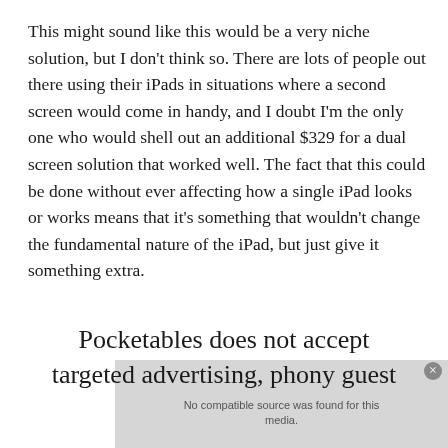This might sound like this would be a very niche solution, but I don't think so. There are lots of people out there using their iPads in situations where a second screen would come in handy, and I doubt I'm the only one who would shell out an additional $329 for a dual screen solution that worked well. The fact that this could be done without ever affecting how a single iPad looks or works means that it's something that wouldn't change the fundamental nature of the iPad, but just give it something extra.
Pocketables does not accept targeted advertising, phony guest